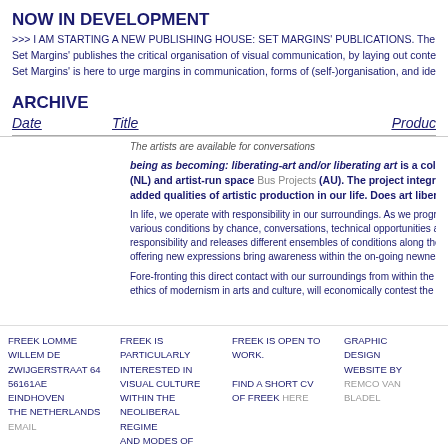NOW IN DEVELOPMENT
>>> I AM STARTING A NEW PUBLISHING HOUSE: SET MARGINS' PUBLICATIONS. The websit
Set Margins' publishes the critical organisation of visual communication, by laying out content, for
Set Margins' is here to urge margins in communication, forms of (self-)organisation, and identity po
ARCHIVE
| Date | Title | Product |
| --- | --- | --- |
The artists are available for conversations
being as becoming: liberating-art and/or liberating art is a collaboration (NL) and artist-run space Bus Projects (AU). The project integrates notio added qualities of artistic production in our life. Does art liberate and/or
In life, we operate with responsibility in our surroundings. As we progress from various conditions by chance, conversations, technical opportunities and more responsibility and releases different ensembles of conditions along the organis offering new expressions bring awareness within the on-going newness of cor
Fore-fronting this direct contact with our surroundings from within the artistic p ethics of modernism in arts and culture, will economically contest the under th
FREEK LOMME
WILLEM DE ZWIJGERSTRAAT 64
56161AE EINDHOVEN
THE NETHERLANDS

EMAIL
FREEK IS PARTICULARLY INTERESTED IN VISUAL CULTURE WITHIN THE NEOLIBERAL REGIME AND MODES OF
FREEK IS OPEN TO WORK.

FIND A SHORT CV OF FREEK HERE
GRAPHIC DESIGN WEBSITE BY REMCO VAN BLADEL